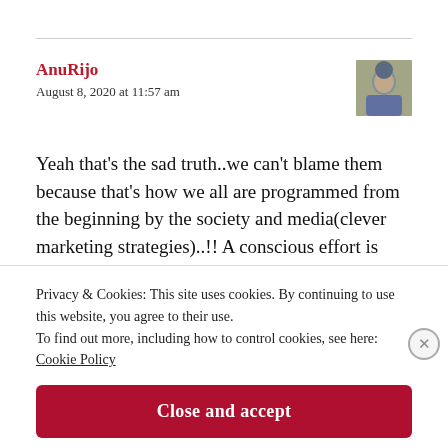AnuRijo
August 8, 2020 at 11:57 am
Yeah that’s the sad truth..we can’t blame them because that’s how we all are programmed from the beginning by the society and media(clever marketing strategies)..!! A conscious effort is
Privacy & Cookies: This site uses cookies. By continuing to use this website, you agree to their use.
To find out more, including how to control cookies, see here: Cookie Policy
Close and accept